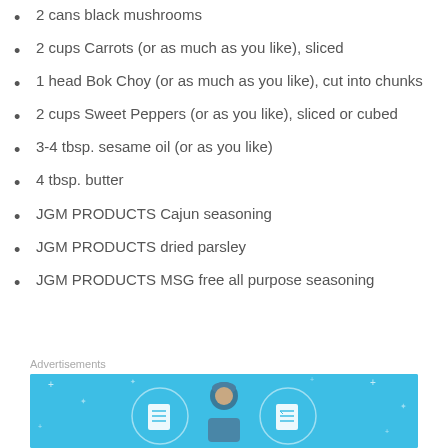2 cans black mushrooms
2 cups Carrots (or as much as you like), sliced
1 head Bok Choy (or as much as you like), cut into chunks
2 cups Sweet Peppers (or as much as you like), sliced or cubed
3-4 tbsp. sesame oil (or as you like)
4 tbsp. butter
JGM PRODUCTS Cajun seasoning
JGM PRODUCTS dried parsley
JGM PRODUCTS MSG free all purpose seasoning
Advertisements
[Figure (illustration): Advertisement banner with cyan/blue background showing illustrated figures of a person with a hard hat flanked by two circular icons representing a notebook and a checklist, with small star/plus decorations scattered around]